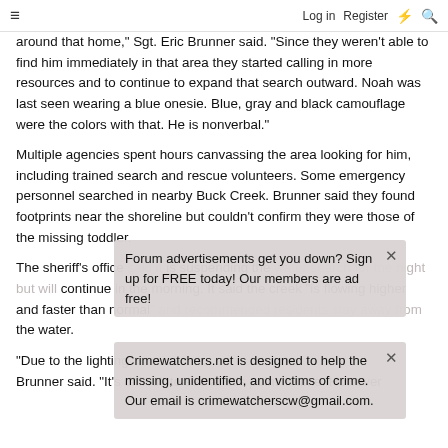≡  Log in  Register  ⚡  🔍
around that home," Sgt. Eric Brunner said. "Since they weren't able to find him immediately in that area they started calling in more resources and to continue to expand that search outward. Noah was last seen wearing a blue onesie. Blue, gray and black camouflage were the colors with that. He is nonverbal."
Multiple agencies spent hours canvassing the area looking for him, including trained search and rescue volunteers. Some emergency personnel searched in nearby Buck Creek. Brunner said they found footprints near the shoreline but couldn't confirm they were those of the missing toddler.
The sheriff's office said it is suspending the water search for the night but will continue in the morning. It said the creek "is flowing higher and faster than normal" and recommended residents stay away from the water.
"Due to the lighting conditions for crews and their safety," Brunner said. "It's difficult to see at this point in time. However
Forum advertisements get you down? Sign up for FREE today! Our members are ad free!
Crimewatchers.net is designed to help the missing, unidentified, and victims of crime. Our email is crimewatcherscw@gmail.com.